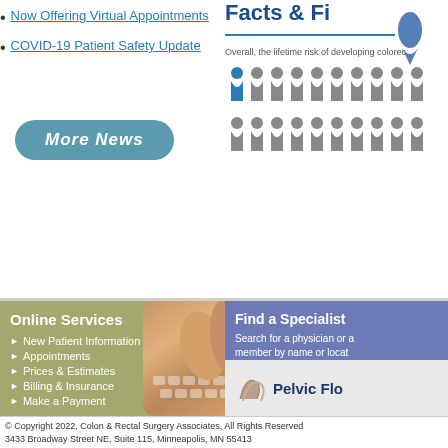Now Offering Virtual Appointments
COVID-19 Patient Safety Update
More News
[Figure (infographic): Colorectal cancer lifetime risk infographic showing blue highlighted figure among gray figures with text about overall lifetime risk of developing colorectal cancer]
Online Services
New Patient Information
Appointments
Prices & Estimates
Billing & Insurance
Make a Payment
[Figure (photo): Close-up photo of hands typing on a keyboard]
Find a Specialist
Search for a physician or member by name or location
Find a Specialist
[Figure (logo): Pelvic Floor logo with swoosh graphic]
Research & Academia
Residency Programs, studies, courses, and publications
Follow on Facebook
© Copyright 2022, Colon & Rectal Surgery Associates, All Rights Reserved
3433 Broadway Street NE, Suite 115, Minneapolis, MN 55413